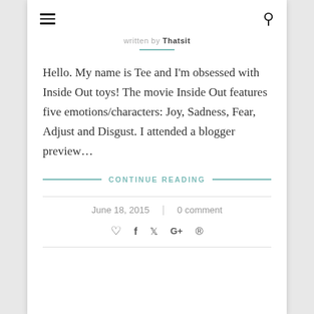☰  🔍
written by Thatsit
Hello. My name is Tee and I'm obsessed with Inside Out toys! The movie Inside Out features five emotions/characters: Joy, Sadness, Fear, Adjust and Disgust. I attended a blogger preview...
CONTINUE READING
June 18, 2015  |  0 comment